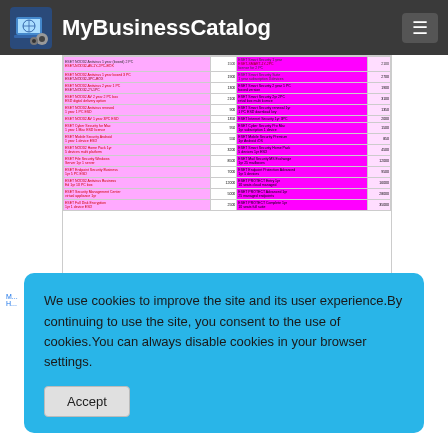MyBusinessCatalog
[Figure (screenshot): A business catalog software screenshot showing a table with product listings highlighted in magenta/pink colors, with multiple columns of product names and prices]
We use cookies to improve the site and its user experience.By continuing to use the site, you consent to the use of cookies.You can always disable cookies in your browser settings.
Accept